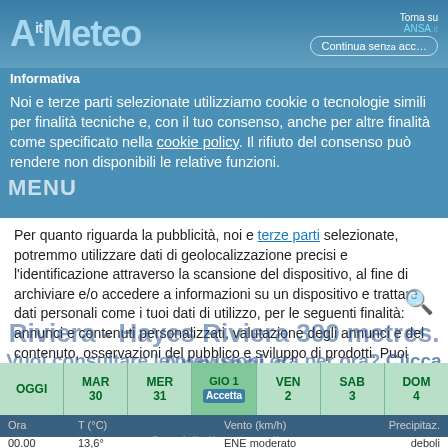AitMeteo
Informativa
Noi e terze parti selezionate utilizziamo cookie o tecnologie simili per finalità tecniche e, con il tuo consenso, anche per altre finalità come specificato nella cookie policy. Il rifiuto del consenso può rendere non disponibili le relative funzioni.
Per quanto riguarda la pubblicità, noi e terze parti selezionate, potremmo utilizzare dati di geolocalizzazione precisi e l'identificazione attraverso la scansione del dispositivo, al fine di archiviare e/o accedere a informazioni su un dispositivo e trattare dati personali come i tuoi dati di utilizzo, per le seguenti finalità: annunci e contenuti personalizzati, valutazione degli annunci e del contenuto, osservazioni del pubblico e sviluppo di prodotti. Puoi liberamente prestare, rifiutare o revocare il tuo consenso, in qualsiasi momento, accedendo al pannello delle
Riviera - Hayes Riviera 300 metres. Annunci e
Vuoi consultare le previsioni ora per ora? Clicca Qui
| OGGI | MAR 30 | MER 31 | GIO 1 Accetta | VEN 2 | SAB 3 | DOM 4 |
| --- | --- | --- | --- | --- | --- | --- |
| Ora | T (°C) | Vento (km/h) | Precipitaz. |
| --- | --- | --- | --- |
| 00.00 | 13,6° | ENE moderato | deboli |
Scopri di più e personalizza